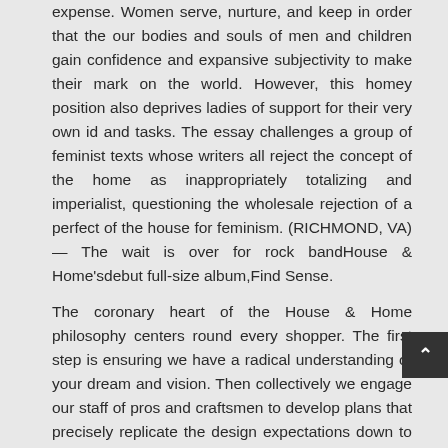expense. Women serve, nurture, and keep in order that the our bodies and souls of men and children gain confidence and expansive subjectivity to make their mark on the world. However, this homey position also deprives ladies of support for their very own id and tasks. The essay challenges a group of feminist texts whose writers all reject the concept of the home as inappropriately totalizing and imperialist, questioning the wholesale rejection of a perfect of the house for feminism. (RICHMOND, VA) — The wait is over for rock bandHouse & Home'sdebut full-size album,Find Sense.
The coronary heart of the House & Home philosophy centers round every shopper. The first step is ensuring we have a radical understanding of your dream and vision. Then collectively we engage our staff of pros and craftsmen to develop plans that precisely replicate the design expectations down to the smallest element. Every aspect of the construction process is orchestrated and supervised by the corporate's principals.